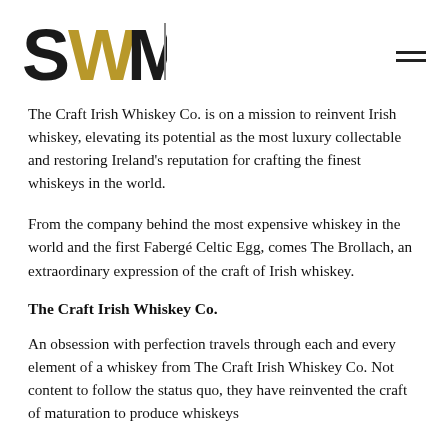[Figure (logo): SWM logo with bold black S and gold/black WM letters, followed by a vertical rule]
The Craft Irish Whiskey Co. is on a mission to reinvent Irish whiskey, elevating its potential as the most luxury collectable and restoring Ireland's reputation for crafting the finest whiskeys in the world.
From the company behind the most expensive whiskey in the world and the first Fabergé Celtic Egg, comes The Brollach, an extraordinary expression of the craft of Irish whiskey.
The Craft Irish Whiskey Co.
An obsession with perfection travels through each and every element of a whiskey from The Craft Irish Whiskey Co. Not content to follow the status quo, they have reinvented the craft of maturation to produce whiskeys